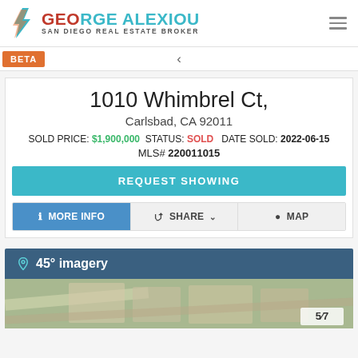[Figure (logo): George Alexiou San Diego Real Estate Broker logo with teal and red text and lightning bolt icon]
BETA
1010 Whimbrel Ct,
Carlsbad, CA 92011
SOLD PRICE: $1,900,000  STATUS: SOLD  DATE SOLD: 2022-06-15
MLS# 220011015
REQUEST SHOWING
i  MORE INFO
< SHARE
MAP
45° imagery
[Figure (photo): Aerial 45-degree imagery of neighborhood showing houses and roads]